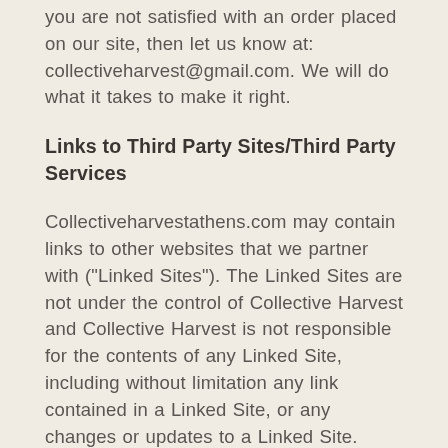you are not satisfied with an order placed on our site, then let us know at: collectiveharvest@gmail.com. We will do what it takes to make it right.
Links to Third Party Sites/Third Party Services
Collectiveharvestathens.com may contain links to other websites that we partner with ("Linked Sites"). The Linked Sites are not under the control of Collective Harvest and Collective Harvest is not responsible for the contents of any Linked Site, including without limitation any link contained in a Linked Site, or any changes or updates to a Linked Site. Collective Harvest is providing these links to you only as a convenience, and the